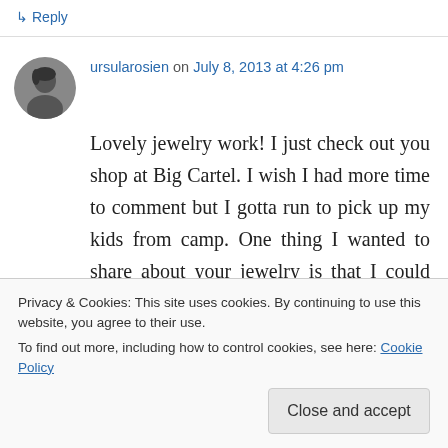↳ Reply
ursularosien on July 8, 2013 at 4:26 pm
Lovely jewelry work! I just check out you shop at Big Cartel. I wish I had more time to comment but I gotta run to pick up my kids from camp. One thing I wanted to share about your jewelry is that I could totally see a child's artwork in one of your jewelry/necklaces. What mom wouldn't
Privacy & Cookies: This site uses cookies. By continuing to use this website, you agree to their use.
To find out more, including how to control cookies, see here: Cookie Policy
Close and accept